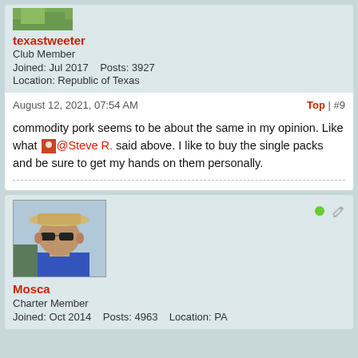[Figure (photo): Avatar image strip at top (partial, cropped) - nature/outdoor scene]
texastweeter
Club Member
Joined: Jul 2017    Posts: 3927
Location: Republic of Texas
August 12, 2021, 07:54 AM
Top | #9
commodity pork seems to be about the same in my opinion. Like what @Steve R. said above. I like to buy the single packs and be sure to get my hands on them personally.
[Figure (photo): Profile photo of Mosca - man wearing straw hat and sunglasses, outdoors]
Mosca
Charter Member
Joined: Oct 2014    Posts: 4963    Location: PA